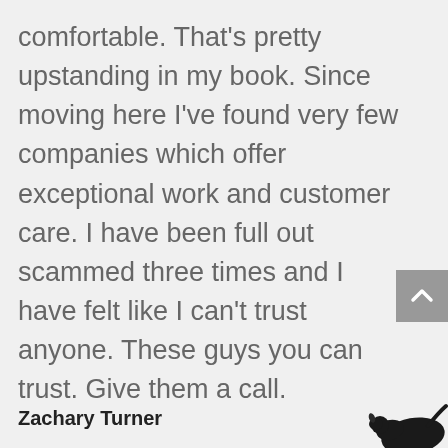comfortable. That's pretty upstanding in my book. Since moving here I've found very few companies which offer exceptional work and customer care. I have been full out scammed three times and I have felt like I can't trust anyone. These guys you can trust. Give them a call.
Zachary Turner